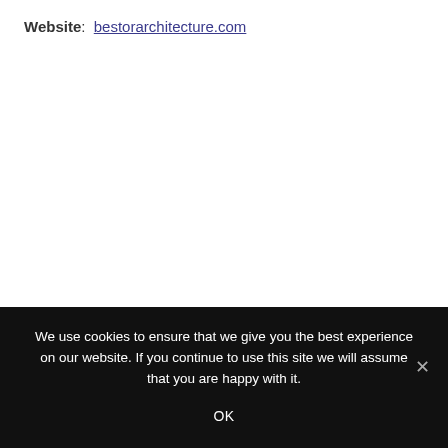Website: bestorarchitecture.com
We use cookies to ensure that we give you the best experience on our website. If you continue to use this site we will assume that you are happy with it.
OK